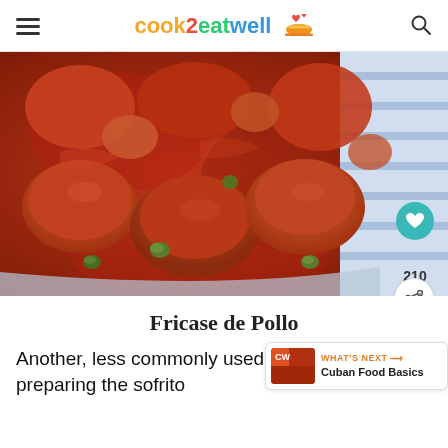cook2eatwell
[Figure (photo): Close-up overhead view of Fricase de Pollo (Cuban chicken fricassee) in a large pot with tomato sauce, chunks of potato, green olives, and chicken pieces. A blue and white checkered cloth is visible on the right side.]
Fricase de Pollo
Another, less commonly used, method includes preparing the sofrito